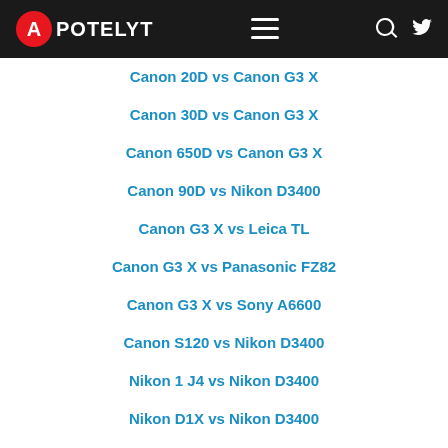APOTELYT
Canon 20D vs Canon G3 X
Canon 30D vs Canon G3 X
Canon 650D vs Canon G3 X
Canon 90D vs Nikon D3400
Canon G3 X vs Leica TL
Canon G3 X vs Panasonic FZ82
Canon G3 X vs Sony A6600
Canon S120 vs Nikon D3400
Nikon 1 J4 vs Nikon D3400
Nikon D1X vs Nikon D3400
Nikon D3400 vs Olympus E-1